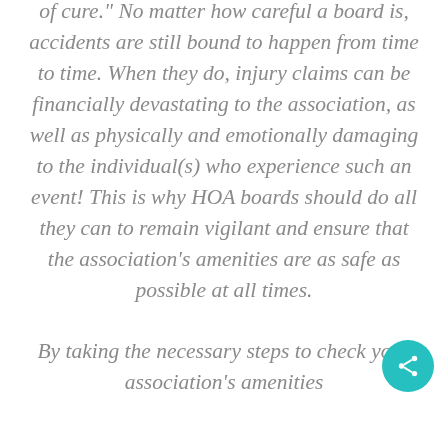of cure." No matter how careful a board is, accidents are still bound to happen from time to time. When they do, injury claims can be financially devastating to the association, as well as physically and emotionally damaging to the individual(s) who experience such an event! This is why HOA boards should do all they can to remain vigilant and ensure that the association's amenities are as safe as possible at all times.

By taking the necessary steps to check your association's amenities